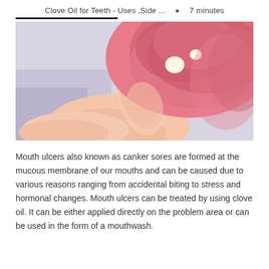Clove Oil for Teeth - Uses ,Side ...  ▪  7 minutes
[Figure (photo): Close-up photo of a finger pressing on the inner lip/gum area of an open mouth, showing a mouth ulcer (canker sore) on the mucous membrane.]
Mouth ulcers also known as canker sores are formed at the mucous membrane of our mouths and can be caused due to various reasons ranging from accidental biting to stress and hormonal changes. Mouth ulcers can be treated by using clove oil. It can be either applied directly on the problem area or can be used in the form of a mouthwash.